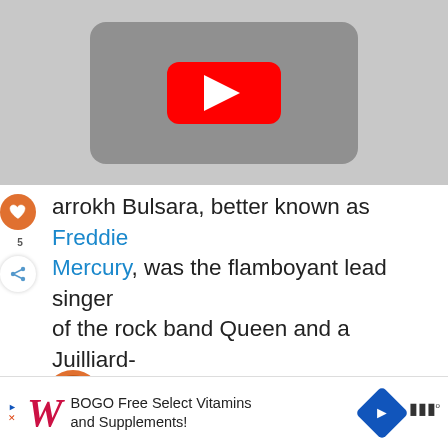[Figure (screenshot): YouTube video thumbnail placeholder showing a grey rounded rectangle with a red YouTube play button in the center, on a light grey background]
Farrokh Bulsara, better known as Freddie Mercury, was the flamboyant lead singer of the rock band Queen and a Juilliard-trained vocalist with an extraordinary range.
[Figure (screenshot): Advertisement bar: Walgreens logo with italic W, text 'BOGO Free Select Vitamins and Supplements!', blue diamond navigation icon, and mute/audio icon]